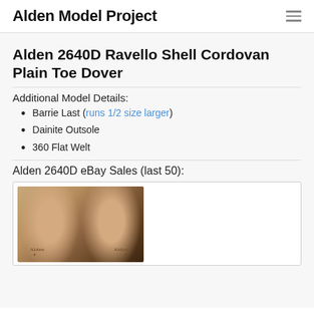Alden Model Project
Alden 2640D Ravello Shell Cordovan Plain Toe Dover
Additional Model Details:
Barrie Last (runs 1/2 size larger)
Dainite Outsole
360 Flat Welt
Alden 2640D eBay Sales (last 50):
[Figure (photo): Photo showing the soles/insoles of two Alden shoes viewed from above, with 'Alden' brand labels visible on the insole of each shoe]